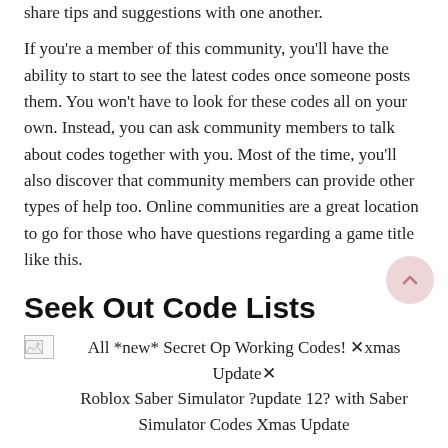share tips and suggestions with one another. If you're a member of this community, you'll have the ability to start to see the latest codes once someone posts them. You won't have to look for these codes all on your own. Instead, you can ask community members to talk about codes together with you. Most of the time, you'll also discover that community members can provide other types of help too. Online communities are a great location to go for those who have questions regarding a game title like this.
Seek Out Code Lists
[Figure (photo): Broken image placeholder with caption: All *new* Secret Op Working Codes! Xxmas UpdateX Roblox Saber Simulator ?update 12? with Saber Simulator Codes Xmas Update]
You can find lists that compile every known code for Saber Simulator. A Saber Simulator codes list is an easy strategy to